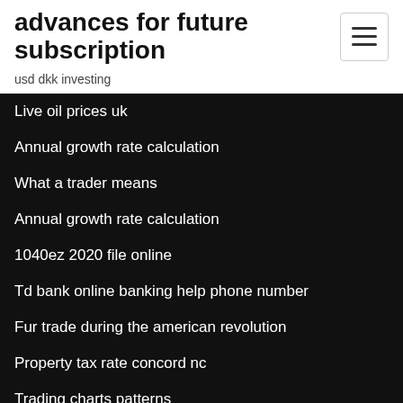advances for future subscription
usd dkk investing
Live oil prices uk
Annual growth rate calculation
What a trader means
Annual growth rate calculation
1040ez 2020 file online
Td bank online banking help phone number
Fur trade during the american revolution
Property tax rate concord nc
Trading charts patterns
Korean stock market index